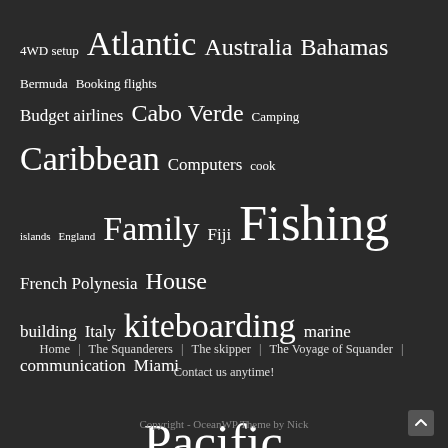[Figure (infographic): Tag cloud on dark background featuring travel-related topics in varying font sizes indicating popularity. Tags include: 4WD setup, Atlantic, Australia, Bahamas, Bermuda, Booking flights, Budget airlines, Cabo Verde, Camping, Caribbean, Computers, cook islands, England, Family, Fiji, Fishing, French Polynesia, House building, Italy, kiteboarding, marine communication, Miami, Morocco, New Caledonia, Pacific, Panama, Portugal, Sailing, scuba diving, Software, Spain, thoughts, Tobago, Toyota Prado, Travel, Turkey, Vanuatu]
Home | The Squanderers | The skipper | The Voyage of Squander | Contact us anytime!
Copyright - OceanWP Theme by Nick